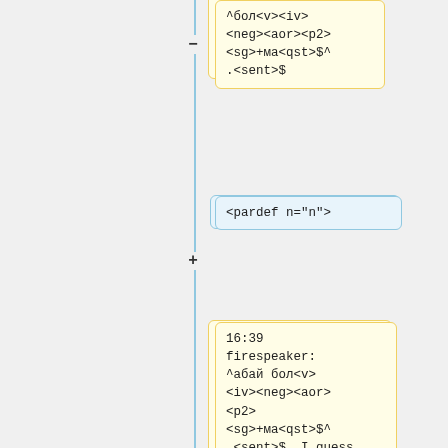[Figure (flowchart): A flowchart/annotation diagram showing two-column layout with yellow boxes on the left and blue boxes on the right connected by a vertical blue line with plus and minus connectors. Left yellow boxes contain linguistic annotation markup in Cyrillic and XML tags. Right blue boxes contain XML structural tags.]
^бол<v><iv><neg><aor><p2><sg>+ма<qst>$^.<sent>$
<pardef n="n">
16:39 firespeaker: ^абай бол<v><iv><neg><aor><p2><sg>+ма<qst>$^.<sent>$  I guess
<e><i><w/><sn="n"/><t/><j/></i></e>
</pardef>